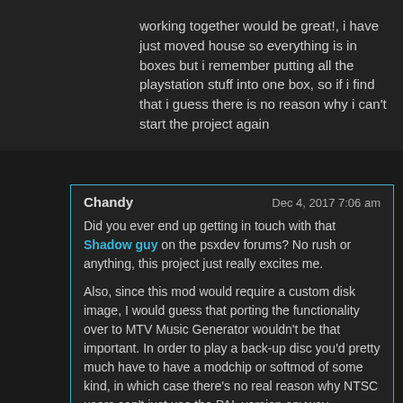working together would be great!, i have just moved house so everything is in boxes but i remember putting all the playstation stuff into one box, so if i find that i guess there is no reason why i can't start the project again
Chandy — Dec 4, 2017 7:06 am

Did you ever end up getting in touch with that Shadow guy on the psxdev forums? No rush or anything, this project just really excites me.

Also, since this mod would require a custom disk image, I would guess that porting the functionality over to MTV Music Generator wouldn't be that important. In order to play a back-up disc you'd pretty much have to have a modchip or softmod of some kind, in which case there's no real reason why NTSC users can't just use the PAL version anyway. However, a port for PAL Music 2000 would be ideal, as it would allow the use of the CD sample ripping feature that many composers would find useful.

Last edited by Chandy (Dec 4, 2017 7:07 am)